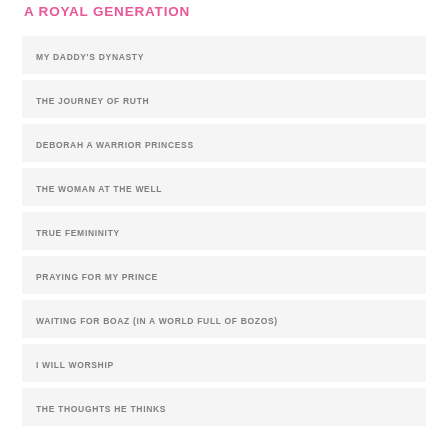A ROYAL GENERATION
MY DADDY'S DYNASTY
THE JOURNEY OF RUTH
DEBORAH A WARRIOR PRINCESS
THE WOMAN AT THE WELL
TRUE FEMININITY
PRAYING FOR MY PRINCE
WAITING FOR BOAZ (IN A WORLD FULL OF BOZOS)
I WILL WORSHIP
THE THOUGHTS HE THINKS